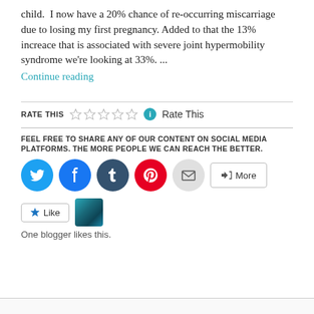child. I now have a 20% chance of re-occurring miscarriage due to losing my first pregnancy. Added to that the 13% increace that is associated with severe joint hypermobility syndrome we're looking at 33%. ...
Continue reading
RATE THIS  Rate This
FEEL FREE TO SHARE ANY OF OUR CONTENT ON SOCIAL MEDIA PLATFORMS. THE MORE PEOPLE WE CAN REACH THE BETTER.
[Figure (infographic): Social media share buttons: Twitter (blue), Facebook (blue), Tumblr (dark navy), Pinterest (red), Email (grey), and a More button]
[Figure (infographic): Like button and blogger avatar thumbnail]
One blogger likes this.